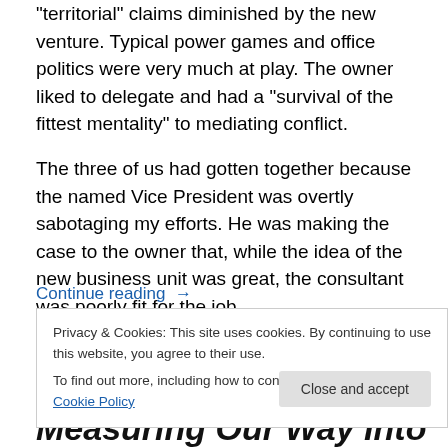“territorial” claims diminished by the new venture. Typical power games and office politics were very much at play. The owner liked to delegate and had a “survival of the fittest mentality” to mediating conflict.
The three of us had gotten together because the named Vice President was overtly sabotaging my efforts. He was making the case to the owner that, while the idea of the new business unit was great, the consultant was poorly fit for the job.
Continue reading →
Privacy & Cookies: This site uses cookies. By continuing to use this website, you agree to their use.
To find out more, including how to control cookies, see here: Cookie Policy
Close and accept
Measuring Our Way Into